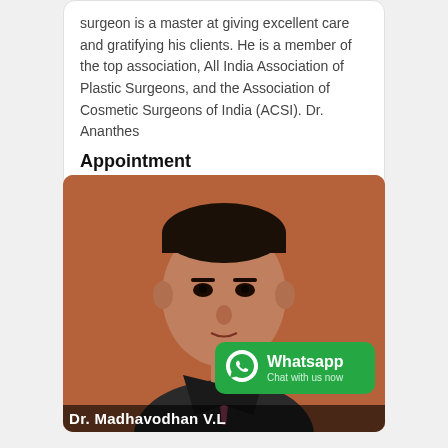surgeon is a master at giving excellent care and gratifying his clients. He is a member of the top association, All India Association of Plastic Surgeons, and the Association of Cosmetic Surgeons of India (ACSI). Dr. Ananthes
Appointment
[Figure (photo): Headshot photo of a male doctor in a dark suit with a pink tie, against an orange-brown background. Name bar at bottom reads 'Dr. Madhavodhan V.L']